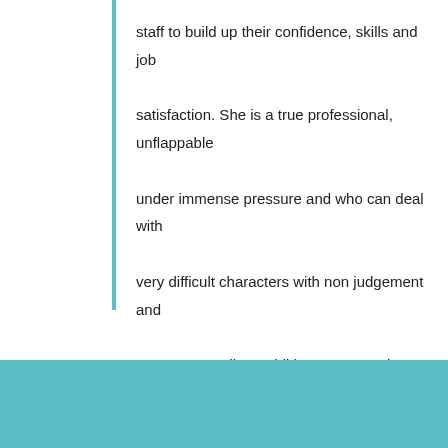staff to build up their confidence, skills and job satisfaction. She is a true professional, unflappable under immense pressure and who can deal with very difficult characters with non judgement and tact – an excellent addition to any work environment." Kiri Barker, Marketing Manager, Lolly